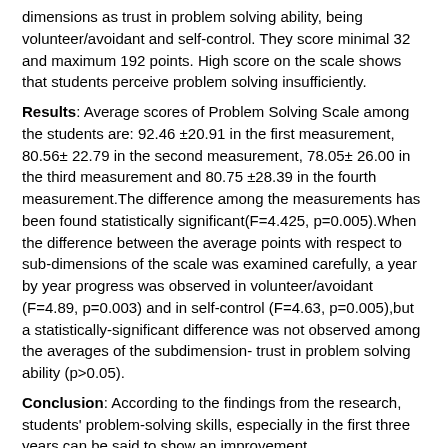dimensions as trust in problem solving ability, being volunteer/avoidant and self-control. They score minimal 32 and maximum 192 points. High score on the scale shows that students perceive problem solving insufficiently.
Results: Average scores of Problem Solving Scale among the students are: 92.46 ±20.91 in the first measurement, 80.56± 22.79 in the second measurement, 78.05± 26.00 in the third measurement and 80.75 ±28.39 in the fourth measurement.The difference among the measurements has been found statistically significant(F=4.425, p=0.005).When the difference between the average points with respect to sub-dimensions of the scale was examined carefully, a year by year progress was observed in volunteer/avoidant (F=4.89, p=0.003) and in self-control (F=4.63, p=0.005),but a statistically-significant difference was not observed among the averages of the subdimension- trust in problem solving ability (p>0.05).
Conclusion: According to the findings from the research, students' problem-solving skills, especially in the first three years can be said to show an improvement.